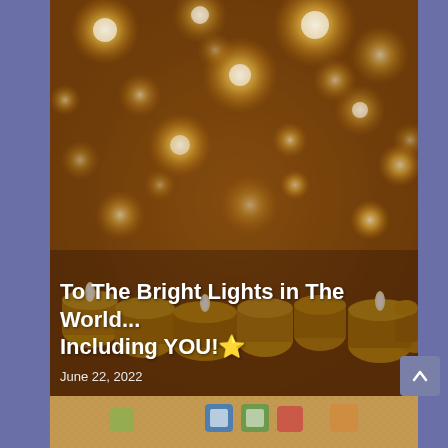[Figure (photo): A bokeh photograph of many small golden candlelight flames, creating warm glowing orbs of light against a dark brown background. In the foreground, small tea candles with visible flames are visible.]
To The Bright Lights in The World... Including YOU!🌟
June 22, 2022
[Figure (photo): Bottom strip showing a cork board texture with colorful icons/images pinned to it.]